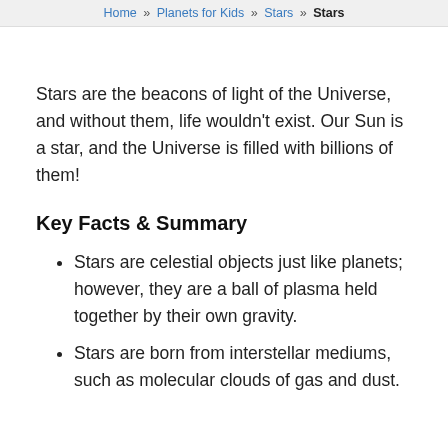Home » Planets for Kids » Stars » Stars
Stars are the beacons of light of the Universe, and without them, life wouldn't exist. Our Sun is a star, and the Universe is filled with billions of them!
Key Facts & Summary
Stars are celestial objects just like planets; however, they are a ball of plasma held together by their own gravity.
Stars are born from interstellar mediums, such as molecular clouds of gas and dust.